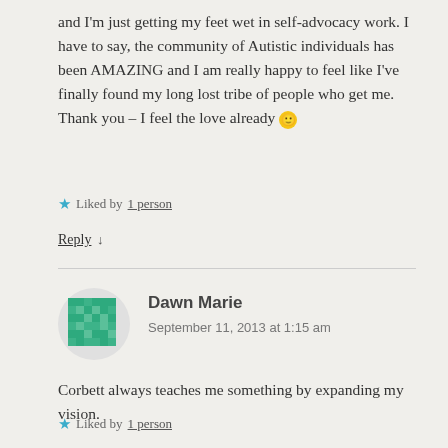and I'm just getting my feet wet in self-advocacy work. I have to say, the community of Autistic individuals has been AMAZING and I am really happy to feel like I've finally found my long lost tribe of people who get me. Thank you – I feel the love already 🙂
★ Liked by 1 person
Reply ↓
Dawn Marie
September 11, 2013 at 1:15 am
Corbett always teaches me something by expanding my vision.
★ Liked by 1 person
Reply ↓